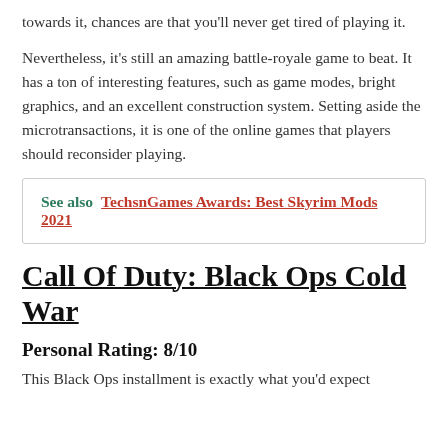towards it, chances are that you'll never get tired of playing it.
Nevertheless, it's still an amazing battle-royale game to beat. It has a ton of interesting features, such as game modes, bright graphics, and an excellent construction system. Setting aside the microtransactions, it is one of the online games that players should reconsider playing.
See also  TechsnGames Awards: Best Skyrim Mods 2021
Call Of Duty: Black Ops Cold War
Personal Rating: 8/10
This Black Ops installment is exactly what you'd expect